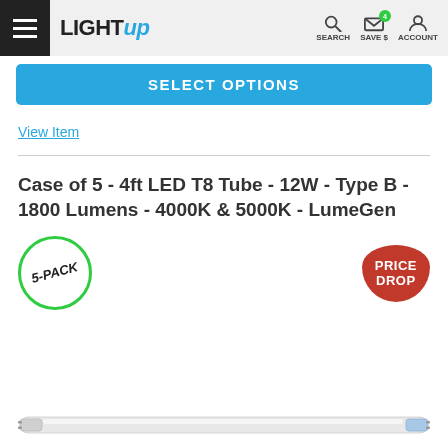LightUp — SEARCH SAVE $ ACCOUNT
SELECT OPTIONS
View Item
Case of 5 - 4ft LED T8 Tube - 12W - Type B - 1800 Lumens - 4000K & 5000K - LumeGen
[Figure (illustration): 5-PACK circular green badge and PRICE DROP red badge]
[Figure (photo): LED T8 tube light product image at bottom of page]